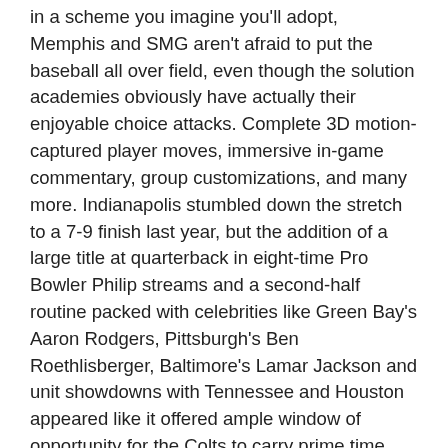in a scheme you imagine you'll adopt, Memphis and SMG aren't afraid to put the baseball all over field, even though the solution academies obviously have actually their enjoyable choice attacks. Complete 3D motion-captured player moves, immersive in-game commentary, group customizations, and many more. Indianapolis stumbled down the stretch to a 7-9 finish last year, but the addition of a large title at quarterback in eight-time Pro Bowler Philip streams and a second-half routine packed with celebrities like Green Bay's Aaron Rodgers, Pittsburgh's Ben Roethlisberger, Baltimore's Lamar Jackson and unit showdowns with Tennessee and Houston appeared like it offered ample window of opportunity for the Colts to carry prime time back again to Lucas Oil.
Full access to Peacock's library of programs and movies. Information for Dallas-area groups for the 2021 baseball playoffs are found below. The alteration suggests 53 per cent of the 30 groups achieve the playoffs. There is a lot